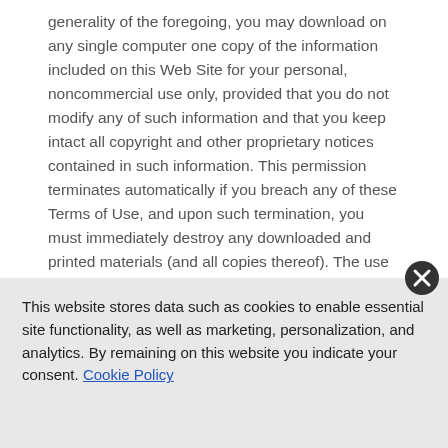generality of the foregoing, you may download on any single computer one copy of the information included on this Web Site for your personal, noncommercial use only, provided that you do not modify any of such information and that you keep intact all copyright and other proprietary notices contained in such information. This permission terminates automatically if you breach any of these Terms of Use, and upon such termination, you must immediately destroy any downloaded and printed materials (and all copies thereof). The use of any content included on this Web Site on any other web site or networked computer environment is strictly prohibited. Any unauthorized use of the content included on this Web Site is prohibited by law and may
This website stores data such as cookies to enable essential site functionality, as well as marketing, personalization, and analytics. By remaining on this website you indicate your consent. Cookie Policy